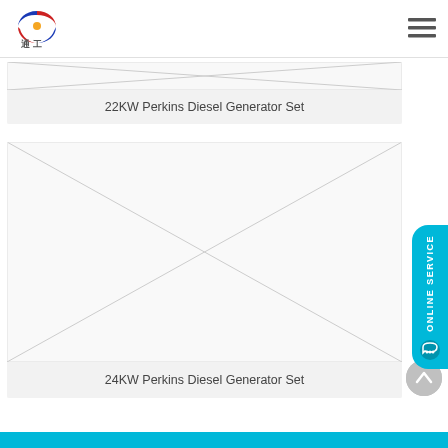[Figure (illustration): Company logo with colorful circular design and Chinese characters]
[Figure (illustration): Hamburger menu icon (three horizontal lines)]
[Figure (photo): 22KW Perkins Diesel Generator Set product image placeholder with X crossing lines]
22KW Perkins Diesel Generator Set
[Figure (photo): 24KW Perkins Diesel Generator Set product image placeholder with X crossing lines]
24KW Perkins Diesel Generator Set
[Figure (illustration): ONLINE SERVICE button in cyan/teal color]
[Figure (illustration): Back to top circular button]